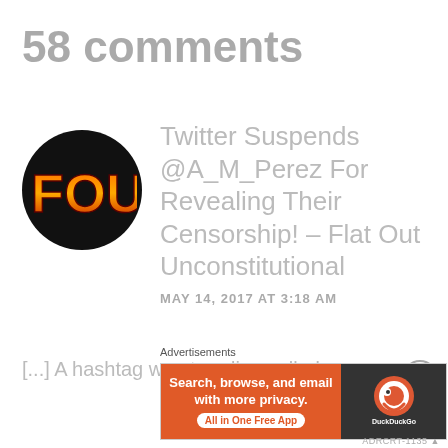58 comments
[Figure (logo): FOU logo - circular black background with red and orange gradient text reading FOU]
Twitter Suspends @A_M_Perez For Revealing Their Censorship! – Flat Out Unconstitutional
MAY 14, 2017 AT 3:18 AM
[...] A hashtag was trending called
Advertisements
[Figure (screenshot): DuckDuckGo advertisement banner: orange section with text 'Search, browse, and email with more privacy. All in One Free App' and dark section with DuckDuckGo logo]